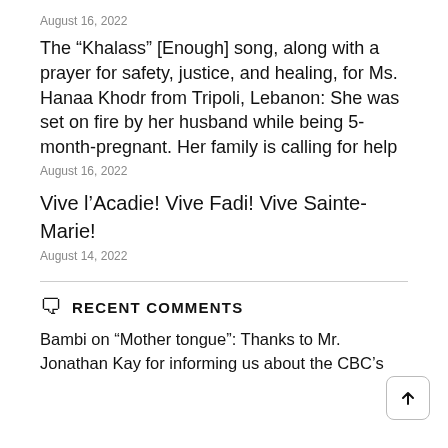August 16, 2022
The “Khalass” [Enough] song, along with a prayer for safety, justice, and healing, for Ms. Hanaa Khodr from Tripoli, Lebanon: She was set on fire by her husband while being 5-month-pregnant. Her family is calling for help
August 16, 2022
Vive l’Acadie! Vive Fadi! Vive Sainte-Marie!
August 14, 2022
RECENT COMMENTS
Bambi on “Mother tongue”: Thanks to Mr. Jonathan Kay for informing us about the CBC’s